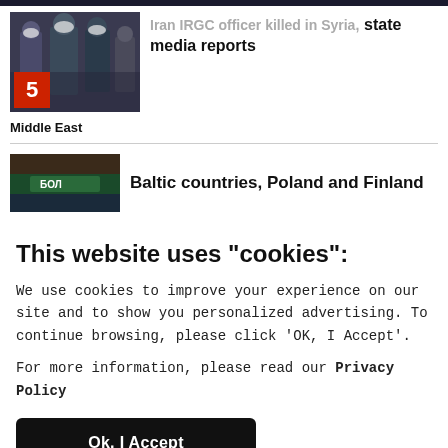[Figure (photo): Photo of military officers in dark uniforms with masks, with a red badge showing number 5]
Iran IRGC officer killed in Syria, state media reports
Middle East
[Figure (photo): Thumbnail image with text in Cyrillic script, appears to be a news photo]
Baltic countries, Poland and Finland
This website uses "cookies":
We use cookies to improve your experience on our site and to show you personalized advertising. To continue browsing, please click 'OK, I Accept'.
For more information, please read our Privacy Policy
Ok, I Accept